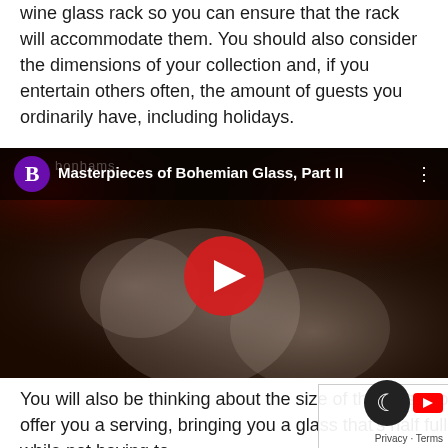wine glass rack so you can ensure that the rack will accommodate them. You should also consider the dimensions of your collection and, if you entertain others often, the amount of guests you ordinarily have, including holidays.
[Figure (screenshot): YouTube video thumbnail showing 'Masterpieces of Bohemian Glass, Part II' with a carved glass artwork visible and a red play button in the center. The Bonhams channel icon (purple B) is shown in the top-left corner.]
You will also be thinking about the size of the glass you want. You should choose wine glasses which will offer you a serving, bringing you a glass that's half full to be able to properly swirl the wine before tasting it while not having to